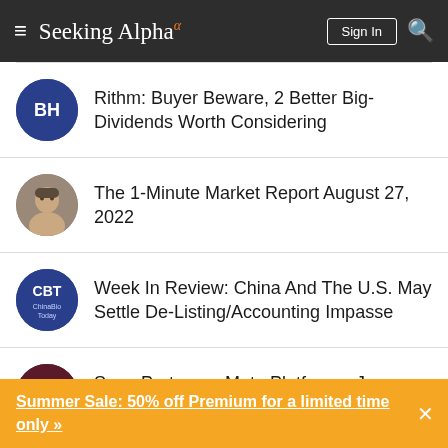Seeking Alpha
Rithm: Buyer Beware, 2 Better Big-Dividends Worth Considering
The 1-Minute Market Report August 27, 2022
Week In Review: China And The U.S. May Settle De-Listing/Accounting Impasse
Saga Partners - Meta Platforms: Jaw Droppingly Attractive Financials
Summer Sale: 50% off Premium for a limited time only »